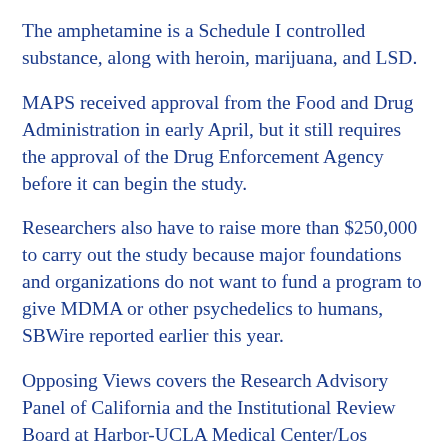The amphetamine is a Schedule I controlled substance, along with heroin, marijuana, and LSD.
MAPS received approval from the Food and Drug Administration in early April, but it still requires the approval of the Drug Enforcement Agency before it can begin the study.
Researchers also have to raise more than $250,000 to carry out the study because major foundations and organizations do not want to fund a program to give MDMA or other psychedelics to humans, SBWire reported earlier this year.
Opposing Views covers the Research Advisory Panel of California and the Institutional Review Board at Harbor-UCLA Medical Center/Los Angeles Biomedical